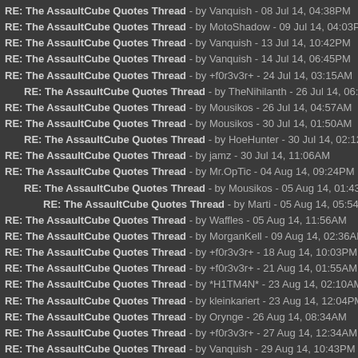RE: The AssaultCube Quotes Thread - by Vanquish - 08 Jul 14, 04:38PM
RE: The AssaultCube Quotes Thread - by MotoShadow - 09 Jul 14, 04:03PM
RE: The AssaultCube Quotes Thread - by Vanquish - 13 Jul 14, 10:42PM
RE: The AssaultCube Quotes Thread - by Vanquish - 14 Jul 14, 06:45PM
RE: The AssaultCube Quotes Thread - by +f0r3v3r+ - 24 Jul 14, 03:15AM
RE: The AssaultCube Quotes Thread - by TheNihilanth - 26 Jul 14, 06:34AM
RE: The AssaultCube Quotes Thread - by Mousikos - 26 Jul 14, 04:57AM
RE: The AssaultCube Quotes Thread - by Mousikos - 30 Jul 14, 01:50AM
RE: The AssaultCube Quotes Thread - by HoeHunter - 30 Jul 14, 02:12AM
RE: The AssaultCube Quotes Thread - by jamz - 30 Jul 14, 11:06AM
RE: The AssaultCube Quotes Thread - by Mr.OpTic - 04 Aug 14, 09:24PM
RE: The AssaultCube Quotes Thread - by Mousikos - 05 Aug 14, 01:43AM
RE: The AssaultCube Quotes Thread - by Marti - 05 Aug 14, 05:54AM
RE: The AssaultCube Quotes Thread - by Waffles - 05 Aug 14, 11:56AM
RE: The AssaultCube Quotes Thread - by MorganKell - 09 Aug 14, 02:36AM
RE: The AssaultCube Quotes Thread - by +f0r3v3r+ - 18 Aug 14, 10:03PM
RE: The AssaultCube Quotes Thread - by +f0r3v3r+ - 21 Aug 14, 01:55AM
RE: The AssaultCube Quotes Thread - by *H1TM4N* - 23 Aug 14, 02:10AM
RE: The AssaultCube Quotes Thread - by kleinkariert - 23 Aug 14, 12:04PM
RE: The AssaultCube Quotes Thread - by Orynge - 26 Aug 14, 08:34AM
RE: The AssaultCube Quotes Thread - by +f0r3v3r+ - 27 Aug 14, 12:34AM
RE: The AssaultCube Quotes Thread - by Vanquish - 29 Aug 14, 10:43PM
RE: The AssaultCube Quotes Thread - by Artemis - 30 Aug 14, 09:21AM
RE: The AssaultCube Quotes Thread - by kleinkariert - 30 Aug 14, 12:39AM
RE: The AssaultCube Quotes Thread - by MotoShadow - 31 Aug 14, 03:21PM